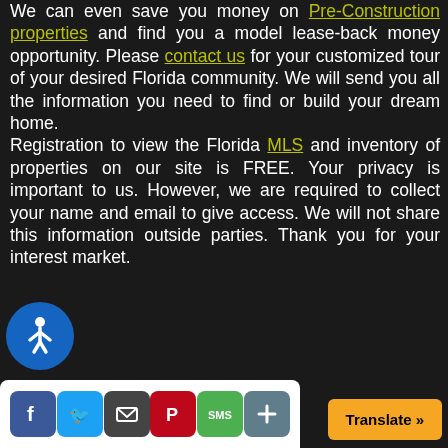We can even save you money on Pre-Construction properties and find you a model lease-back money opportunity. Please contact us for your customized tour of your desired Florida community. We will send you all the information you need to find or build your dream home. Registration to view the Florida MLS and inventory of properties on our site is FREE. Your privacy is important to us. However, we are required to collect your name and email to give access. We will not share this information outside parties. Thank you for your interest market.
[Figure (illustration): Accessibility icon - circular blue button with wheelchair user symbol]
[Figure (illustration): Social media sharing bar with Facebook, Twitter, Email, Pinterest, SMS, and plus buttons]
[Figure (illustration): Orange Translate button in bottom right corner]